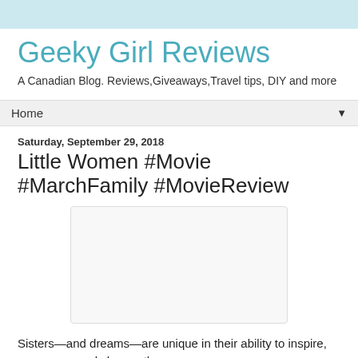Geeky Girl Reviews
A Canadian Blog. Reviews,Giveaways,Travel tips, DIY and more
Home
Saturday, September 29, 2018
Little Women #Movie #MarchFamily #MovieReview
[Figure (other): Image placeholder / blank image box for movie review]
Sisters—and dreams—are unique in their ability to inspire, encourage and change the